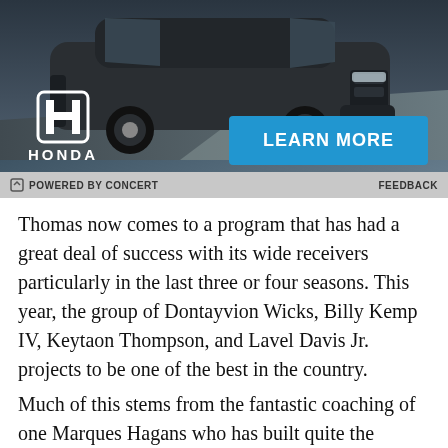[Figure (photo): Honda SUV advertisement showing a dark grey Honda SUV on a road, with the Honda H logo and HONDA text on the lower left, and a blue LEARN MORE button on the lower right.]
POWERED BY CONCERT   FEEDBACK
Thomas now comes to a program that has had a great deal of success with its wide receivers particularly in the last three or four seasons. This year, the group of Dontayvion Wicks, Billy Kemp IV, Keytaon Thompson, and Lavel Davis Jr. projects to be one of the best in the country.
Much of this stems from the fantastic coaching of one Marques Hagans who has built quite the established